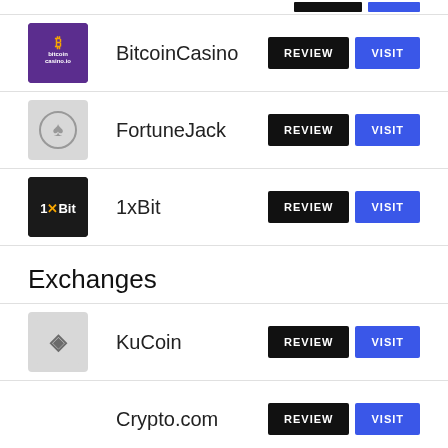BitcoinCasino – REVIEW | VISIT
FortuneJack – REVIEW | VISIT
1xBit – REVIEW | VISIT
Exchanges
KuCoin – REVIEW | VISIT
Crypto.com – REVIEW | VISIT
Coinbase – REVIEW | VISIT